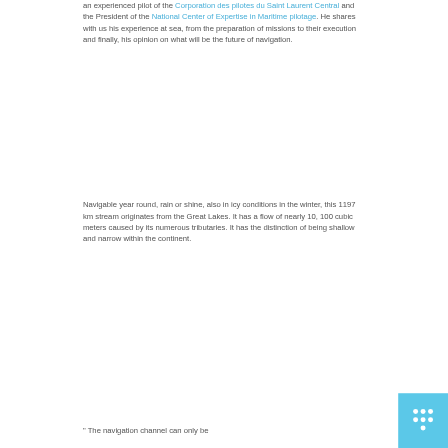an experienced pilot of the Corporation des pilotes du Saint Laurent Central and the President of the National Center of Expertise in Maritime pilotage. He shares with us his experience at sea, from the preparation of missions to their execution and finally, his opinion on what will be the future of navigation.
Navigable year round, rain or shine, also in icy conditions in the winter, this 1197 km stream originates from the Great Lakes. It has a flow of nearly 10, 100 cubic meters caused by its numerous tributaries. It has the distinction of being shallow and narrow within the continent.
" The navigation channel can only be
[Figure (logo): Light blue square with a white dot/grid pattern icon resembling a navigation or network symbol]